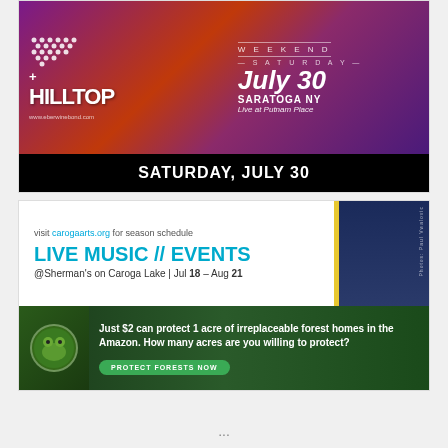[Figure (illustration): Hilltop band concert advertisement showing Saturday July 30 at Putnam Place, Saratoga NY with psychedelic red/purple background and white dot pattern]
SATURDAY, JULY 30
[Figure (illustration): Caroga Arts advertisement for Live Music // Events at Sherman's on Caroga Lake, Jul 18 - Aug 21, with visit carogaarts.org tagline and yellow/blue decorative panel]
[Figure (illustration): Amazon forest conservation ad: Just $2 can protect 1 acre of irreplaceable forest homes in the Amazon. How many acres are you willing to protect? with PROTECT FORESTS NOW button]